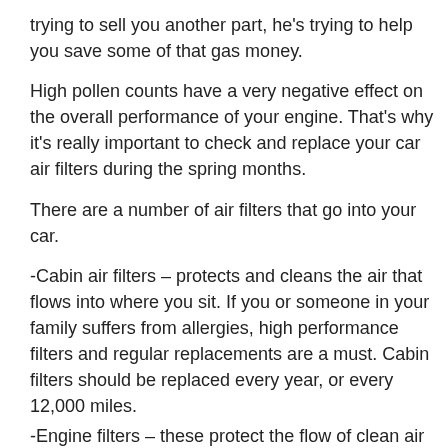trying to sell you another part, he's trying to help you save some of that gas money.
High pollen counts have a very negative effect on the overall performance of your engine. That's why it's really important to check and replace your car air filters during the spring months.
There are a number of air filters that go into your car.
-Cabin air filters – protects and cleans the air that flows into where you sit. If you or someone in your family suffers from allergies, high performance filters and regular replacements are a must. Cabin filters should be replaced every year, or every 12,000 miles.
-Engine filters – these protect the flow of clean air into your engine. During pollen season, it's best that you replace your air filter more often than the manufacturer's 15,000 mile recommendation.
Air Filters- Your Main Line of Defense against Pollen